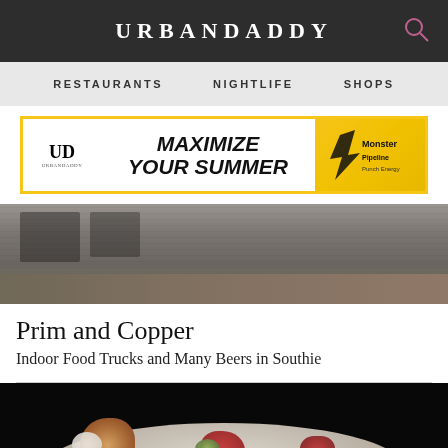URBANDADDY
[Figure (screenshot): Navigation bar with links: RESTAURANTS, NIGHTLIFE, SHOPS]
[Figure (illustration): Advertisement banner: UD URBANDADDY - MAXIMIZE YOUR SUMMER - Monster Energy logo on yellow background with yellow border]
[Figure (photo): Outdoor restaurant or venue scene with tables and chairs, dark atmospheric photo]
Prim and Copper
Indoor Food Trucks and Many Beers in Southie
[Figure (photo): Close-up food photo on dark background showing appetizers or small plates on a white plate]